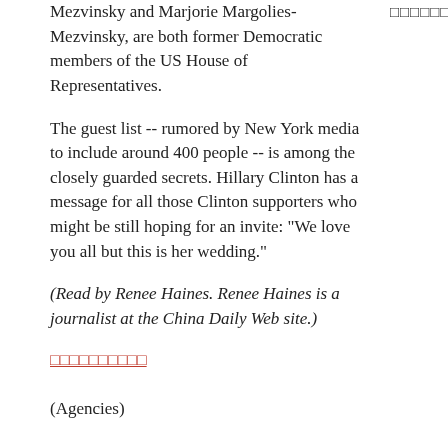Mezvinsky and Marjorie Margolies-Mezvinsky, are both former Democratic members of the US House of Representatives.
□□□□□□□□□□ Julie □□□□□□
The guest list -- rumored by New York media to include around 400 people -- is among the closely guarded secrets. Hillary Clinton has a message for all those Clinton supporters who might be still hoping for an invite: "We love you all but this is her wedding."
(Read by Renee Haines. Renee Haines is a journalist at the China Daily Web site.)
□□□□□□□□□□
(Agencies)
Vocabulary: